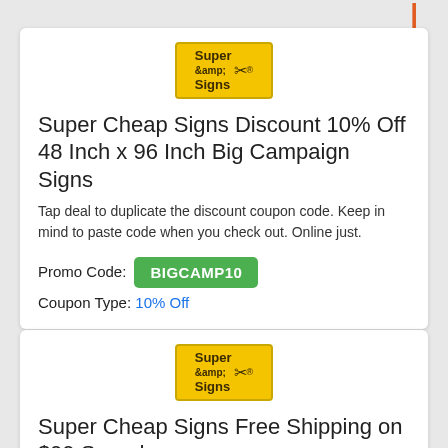[Figure (logo): Super Cheap Signs yellow logo badge]
Super Cheap Signs Discount 10% Off 48 Inch x 96 Inch Big Campaign Signs
Tap deal to duplicate the discount coupon code. Keep in mind to paste code when you check out. Online just.
Promo Code: BIGCAMP10 Coupon Type: 10% Off
[Figure (logo): Super Cheap Signs yellow logo badge]
Super Cheap Signs Free Shipping on $99 Spend
Tap deal to duplicate the discount coupon code...